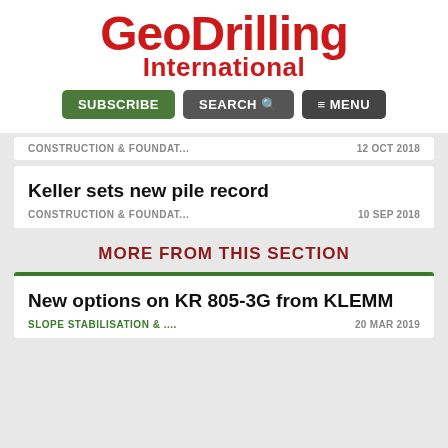[Figure (logo): GeoDrilling International logo in red bold text]
SUBSCRIBE | SEARCH | MENU navigation buttons
CONSTRUCTION & FOUNDAT... | 12 OCT 2018
Keller sets new pile record | CONSTRUCTION & FOUNDAT... | 10 SEP 2018
MORE FROM THIS SECTION
New options on KR 805-3G from KLEMM | SLOPE STABILISATION & ... | 20 MAR 2019